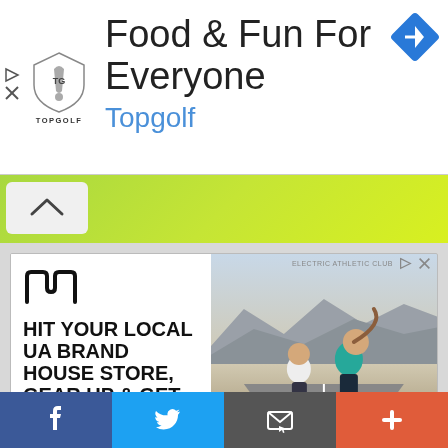[Figure (screenshot): Topgolf advertisement banner with logo and 'Food & Fun For Everyone' headline, navigation diamond icon]
[Figure (screenshot): Green background area with white chevron-up collapse button]
[Figure (screenshot): Under Armour ad — UA logo, bold text 'HIT YOUR LOCAL UA BRAND HOUSE STORE, GEAR UP & GET TO WORK.' with photo of two runners on a desert road]
Under Armour® Brand House
[Figure (screenshot): Social share bar with Facebook, Twitter, Email, and Plus buttons]